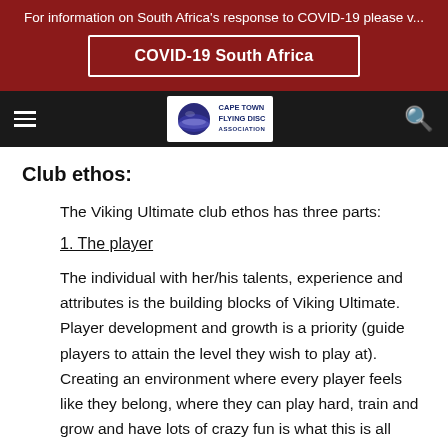For information on South Africa's response to COVID-19 please v...
COVID-19 South Africa
[Figure (logo): Cape Town Flying Disc Association logo with navigation bar including hamburger menu and search icon]
Club ethos:
The Viking Ultimate club ethos has three parts:
1. The player
The individual with her/his talents, experience and attributes is the building blocks of Viking Ultimate. Player development and growth is a priority (guide players to attain the level they wish to play at). Creating an environment where every player feels like they belong, where they can play hard, train and grow and have lots of crazy fun is what this is all about. Attracting